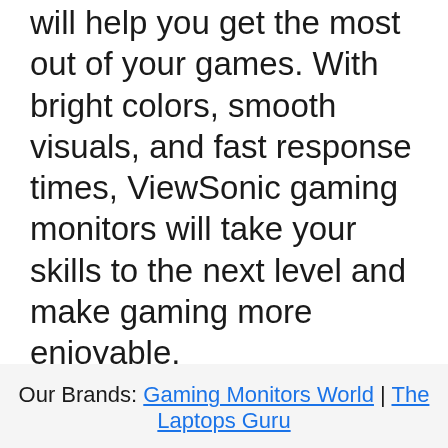will help you get the most out of your games. With bright colors, smooth visuals, and fast response times, ViewSonic gaming monitors will take your skills to the next level and make gaming more enjoyable.
< What is 1920×1080 Resolution?
> Best Curved Gaming Monitors Under 300 Dollars
Our Brands: Gaming Monitors World | The Laptops Guru